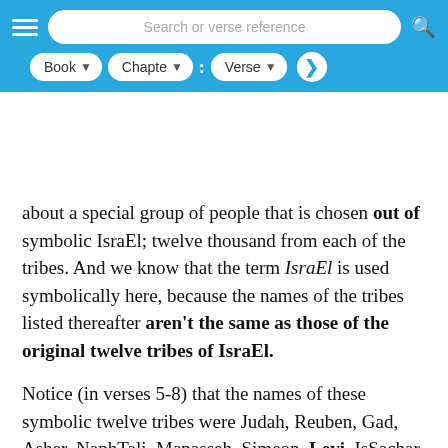Search or verse reference | Book | Chapter | Verse
about a special group of people that is chosen out of symbolic IsraEl; twelve thousand from each of the tribes. And we know that the term IsraEl is used symbolically here, because the names of the tribes listed thereafter aren't the same as those of the original twelve tribes of IsraEl.
Notice (in verses 5-8) that the names of these symbolic twelve tribes were Judah, Reuben, Gad, Asher, NaphTali, Manasseh, Simeon, Levi, IsSachar, ZebuLun, JoSeph, and BenJamin. So, two tribal names (the Priestly tribe of Levi, which was never listed as one of the original twelve, and the tribe of JoSeph, which was represented in IsraEl by the